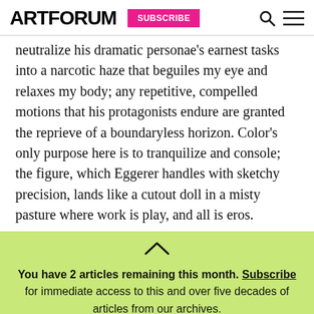ARTFORUM SUBSCRIBE
neutralize his dramatic personae’s earnest tasks into a narcotic haze that beguiles my eye and relaxes my body; any repetitive, compelled motions that his protagonists endure are granted the reprieve of a boundaryless horizon. Color’s only purpose here is to tranquilize and console; the figure, which Eggerer handles with sketchy precision, lands like a cutout doll in a misty pasture where work is play, and all is eros.
You have 2 articles remaining this month. Subscribe for immediate access to this and over five decades of articles from our archives.